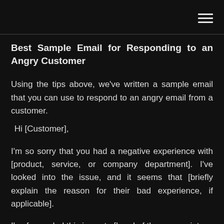☰
Best Sample Email for Responding to an Angry Customer
Using the tips above, we've written a sample email that you can use to respond to an angry email from a customer.
Hi [Customer],
I'm so sorry that you had a negative experience with [product, service, or company department]. I've looked into the issue, and it seems that [briefly explain the reason for their bad experience, if applicable].
I've forwarded this issue to [head of the appropriate